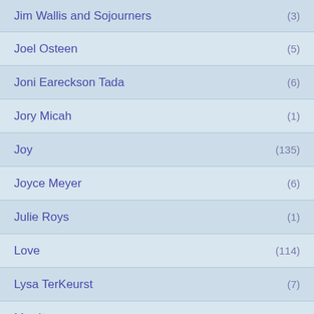Jim Wallis and Sojourners (3)
Joel Osteen (5)
Joni Eareckson Tada (6)
Jory Micah (1)
Joy (135)
Joyce Meyer (6)
Julie Roys (1)
Love (114)
Lysa TerKeurst (7)
Marriage (106)